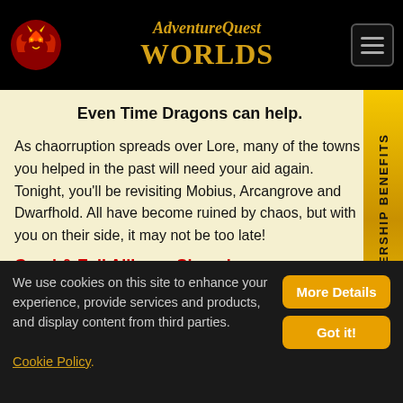AdventureQuest Worlds
Even Time Dragons can help.
As chaorruption spreads over Lore, many of the towns you helped in the past will need your aid again. Tonight, you'll be revisiting Mobius, Arcangrove and Dwarfhold. All have become ruined by chaos, but with you on their side, it may not be too late!
Good & Evil Alliance Shops!
Whether you fight for good or for evil, there's plenty of awesome new gear to collect from he new Good and Evil Alliance shops!
We use cookies on this site to enhance your experience, provide services and products, and display content from third parties. Cookie Policy.